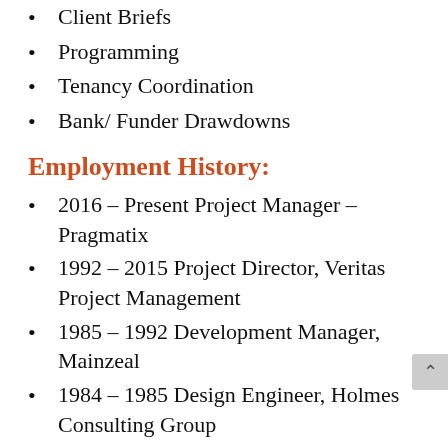Client Briefs
Programming
Tenancy Coordination
Bank/ Funder Drawdowns
Employment History:
2016 – Present Project Manager – Pragmatix
1992 – 2015 Project Director, Veritas Project Management
1985 – 1992 Development Manager, Mainzeal
1984 – 1985 Design Engineer, Holmes Consulting Group
1983 – 1984 Project Manager, Borthwick CWS Ltd
1977 – 1983 Design Engineer, Sinclair Knight Merz